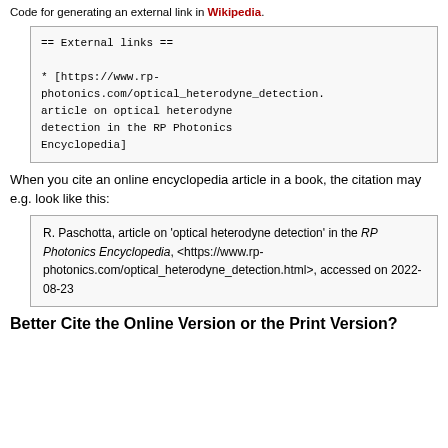Code for generating an external link in Wikipedia.
== External links ==

* [https://www.rp-photonics.com/optical_heterodyne_detection. article on optical heterodyne detection in the RP Photonics Encyclopedia]
When you cite an online encyclopedia article in a book, the citation may e.g. look like this:
R. Paschotta, article on 'optical heterodyne detection' in the RP Photonics Encyclopedia, <https://www.rp-photonics.com/optical_heterodyne_detection.html>, accessed on 2022-08-23
Better Cite the Online Version or the Print Version?